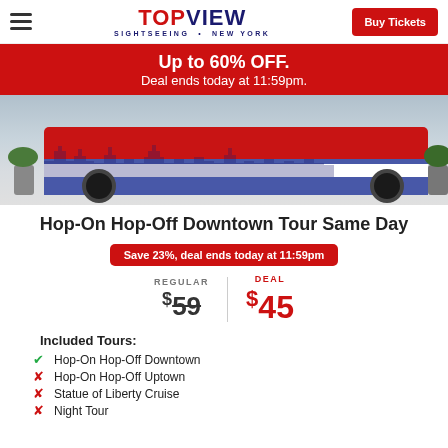TopView Sightseeing · New York | Buy Tickets
Up to 60% OFF. Deal ends today at 11:59pm.
[Figure (photo): Red double-decker sightseeing bus with New York City skyline silhouette graphic on its side, parked on a city street.]
Hop-On Hop-Off Downtown Tour Same Day
Save 23%, deal ends today at 11:59pm
REGULAR $59  DEAL $45
Included Tours:
Hop-On Hop-Off Downtown
Hop-On Hop-Off Uptown
Statue of Liberty Cruise
Night Tour